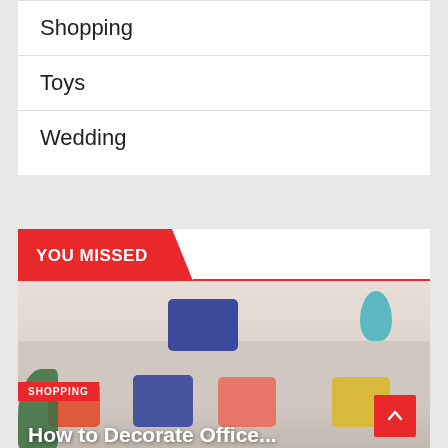Shopping
Toys
Wedding
YOU MISSED
[Figure (photo): Photo of a sofa with decorative pillows in various patterns and colors (blue, orange, pink, yellow), a teal vase, and green plants. A 'SHOPPING' tag overlay and partial article title visible at the bottom.]